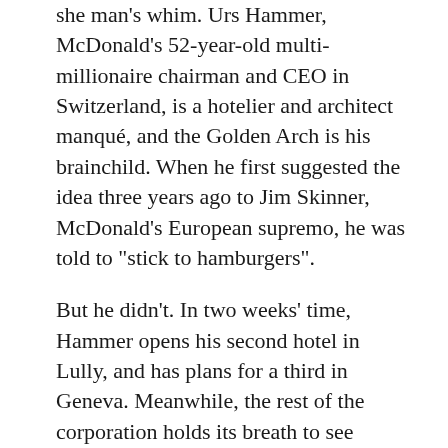she man's whim. Urs Hammer, McDonald's 52-year-old multi-millionaire chairman and CEO in Switzerland, is a hotelier and architect manqué, and the Golden Arch is his brainchild. When he first suggested the idea three years ago to Jim Skinner, McDonald's European supremo, he was told to "stick to hamburgers".
But he didn't. In two weeks' time, Hammer opens his second hotel in Lully, and has plans for a third in Geneva. Meanwhile, the rest of the corporation holds its breath to see whether the McHotel will bankroll the business for the next few decades or turn out be an expensive midlife crisis.
The McDonald's yellows and reds dominate the lobby and bar area, and much of the furniture has been designed to reflect the company logo. But where the burger bars are